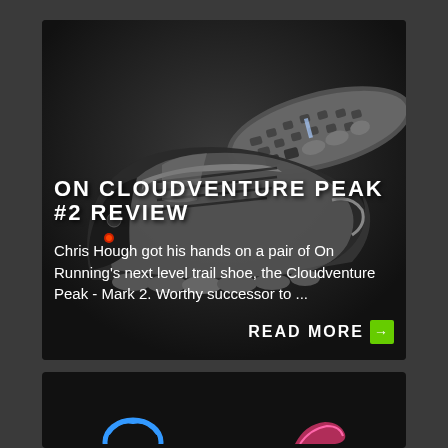[Figure (photo): On Cloudventure Peak trail shoe product photo showing side and sole view on dark background]
ON CLOUDVENTURE PEAK #2 REVIEW
Chris Hough got his hands on a pair of On Running's next level trail shoe, the Cloudventure Peak - Mark 2. Worthy successor to ...
READ MORE →
[Figure (photo): Bottom section with partial images of shoes/running gear on black background]